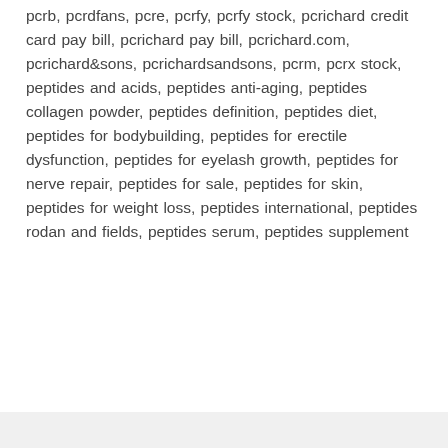pcrb, pcrdfans, pcre, pcrfy, pcrfy stock, pcrichard credit card pay bill, pcrichard pay bill, pcrichard.com, pcrichard&sons, pcrichardsandsons, pcrm, pcrx stock, peptides and acids, peptides anti-aging, peptides collagen powder, peptides definition, peptides diet, peptides for bodybuilding, peptides for erectile dysfunction, peptides for eyelash growth, peptides for nerve repair, peptides for sale, peptides for skin, peptides for weight loss, peptides international, peptides rodan and fields, peptides serum, peptides supplement